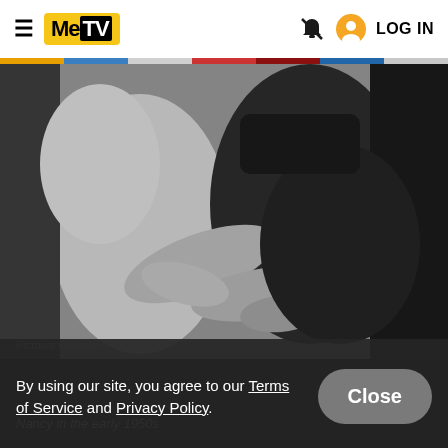MeTV — LOG IN
[Figure (photo): Black and white photograph showing two people embracing, close-up of torsos and hands, one person wearing a dark button-up shirt/dress, the other in lighter clothing. Vintage 1950s style photo.]
By using our site, you agree to our Terms of Service and Privacy Policy.
Nancy in the early 1950s